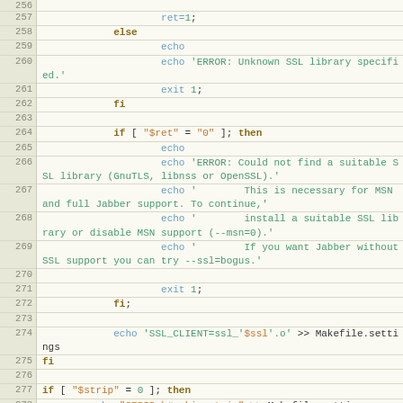[Figure (screenshot): Shell script source code lines 256-282 with line numbers in left gutter. Code uses monospace font on light cream background. Keywords in bold brown, strings in teal/green, variables in orange, commands in blue.]